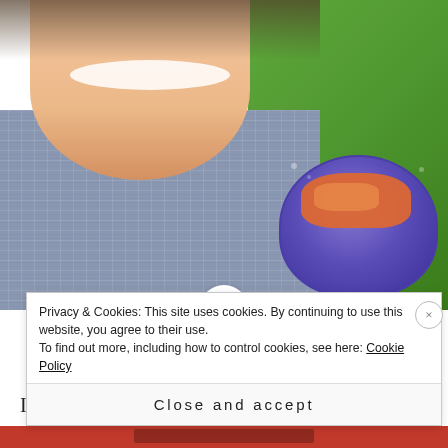[Figure (photo): A smiling person in a plaid shirt photographed outdoors on grass, with a blue and white decorative bowl containing orange food (carrots/vegetables) visible to the right.]
Turkey and Veg Casserole
I don't think there's much more appealing, when it comes to cooking, than easy, tasty and healthy dishes. My original blog – Endorphin Stew – was influenced hugely by the fact
Privacy & Cookies: This site uses cookies. By continuing to use this website, you agree to their use.
To find out more, including how to control cookies, see here: Cookie Policy
Close and accept